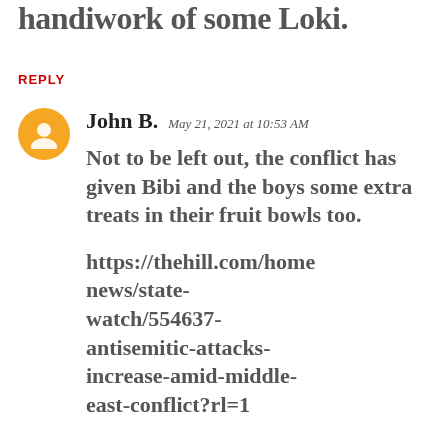handiwork of some Loki.
REPLY
John B. May 21, 2021 at 10:53 AM
Not to be left out, the conflict has given Bibi and the boys some extra treats in their fruit bowls too.
https://thehill.com/homenews/state-watch/554637-antisemitic-attacks-increase-amid-middle-east-conflict?rl=1